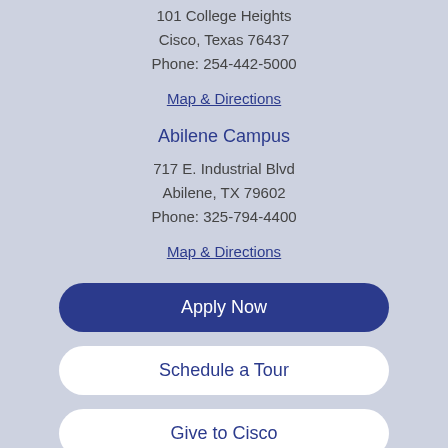101 College Heights
Cisco, Texas 76437
Phone: 254-442-5000
Map & Directions
Abilene Campus
717 E. Industrial Blvd
Abilene, TX 79602
Phone: 325-794-4400
Map & Directions
Apply Now
Schedule a Tour
Give to Cisco